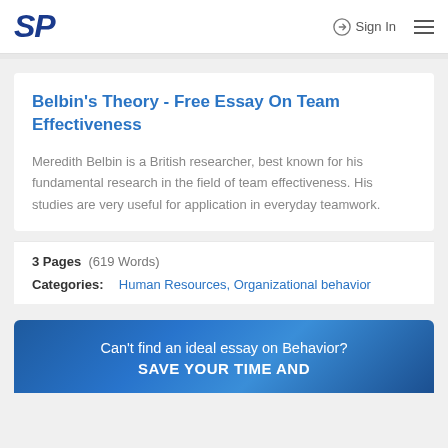SP  Sign In
Belbin's Theory - Free Essay On Team Effectiveness
Meredith Belbin is a British researcher, best known for his fundamental research in the field of team effectiveness. His studies are very useful for application in everyday teamwork.
3 Pages  (619 Words)
Categories:  Human Resources, Organizational behavior
Can't find an ideal essay on Behavior?
SAVE YOUR TIME AND